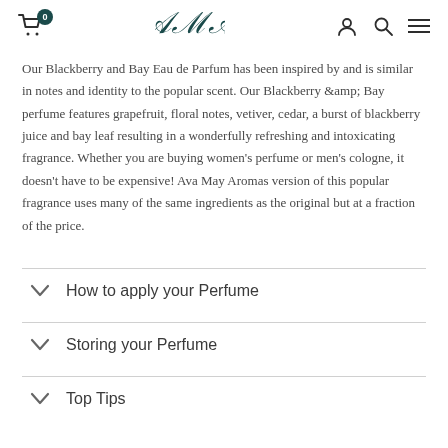Navigation bar with cart (0), AMA logo, user icon, search icon, menu icon
Our Blackberry and Bay Eau de Parfum has been inspired by and is similar in notes and identity to the popular scent. Our Blackberry &amp; Bay perfume features grapefruit, floral notes, vetiver, cedar, a burst of blackberry juice and bay leaf resulting in a wonderfully refreshing and intoxicating fragrance. Whether you are buying women's perfume or men's cologne, it doesn't have to be expensive! Ava May Aromas version of this popular fragrance uses many of the same ingredients as the original but at a fraction of the price.
How to apply your Perfume
Storing your Perfume
Top Tips